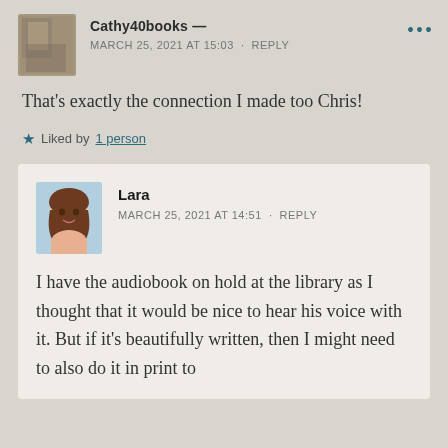Cathy40books —
MARCH 25, 2021 AT 15:03 · REPLY
That's exactly the connection I made too Chris!
Liked by 1 person
Lara
MARCH 25, 2021 AT 14:51 · REPLY
I have the audiobook on hold at the library as I thought that it would be nice to hear his voice with it. But if it's beautifully written, then I might need to also do it in print to